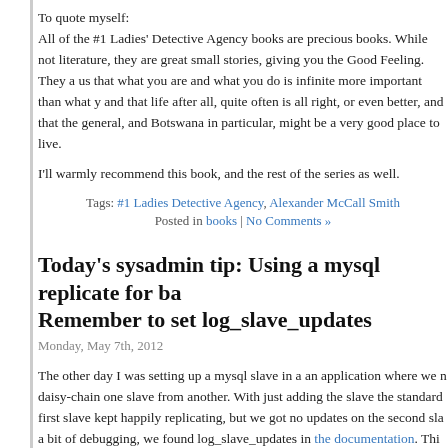To quote myself:
All of the #1 Ladies' Detective Agency books are precious books. While not literature, they are great small stories, giving you the Good Feeling. They a… us that what you are and what you do is infinite more important than what y… and that life after all, quite often is all right, or even better, and that the general, and Botswana in particular, might be a very good place to live.
I'll warmly recommend this book, and the rest of the series as well.
Tags: #1 Ladies Detective Agency, Alexander McCall Smith
Posted in books | No Comments »
Today's sysadmin tip: Using a mysql replicate for ba… Remember to set log_slave_updates
Monday, May 7th, 2012
The other day I was setting up a mysql slave in a an application where we n… daisy-chain one slave from another. With just adding the slave the standard… first slave kept happily replicating, but we got no updates on the second sl… a bit of debugging, we found log_slave_updates in the documentation. Thi… the slave actually binlog changes from the master. Without this, only chang… one the slave is added to the binlog. Adding log_slave_updates to my.cnf o… slave, the second in the chain started replicating as well.
So far, so good. But considering using replication for backup purposes, something I guess is quite common, the binlog of changes to the da…